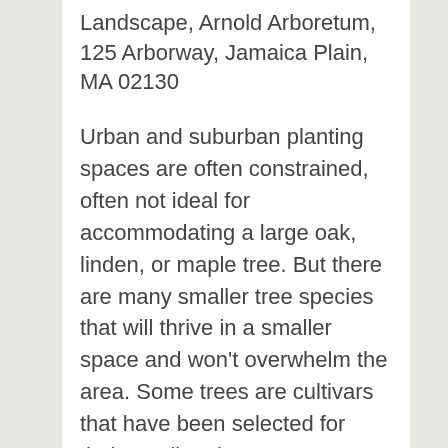Landscape, Arnold Arboretum, 125 Arborway, Jamaica Plain, MA 02130
Urban and suburban planting spaces are often constrained, often not ideal for accommodating a large oak, linden, or maple tree. But there are many smaller tree species that will thrive in a smaller space and won’t overwhelm the area. Some trees are cultivars that have been selected for their smaller size or narrow characteristics, while others are naturally genetically petite. Guided by the “right plant, right place” philosophy, Laura Mele